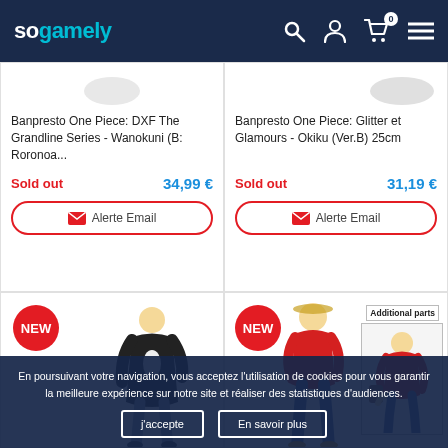sogamely — navigation header with search, account, cart (0), and menu icons
Banpresto One Piece: DXF The Grandline Series - Wanokuni (B: Roronoa...
Sold out   34,99 €
Alerte Email
Banpresto One Piece: Glitter et Glamours - Okiku (Ver.B) 25cm
Sold out   31,19 €
Alerte Email
[Figure (photo): NEW badge with Sabo figure (anime One Piece character in black coat)]
[Figure (photo): NEW badge with Luffy figure and 'Additional parts' box showing alternate version]
En poursuivant votre navigation, vous acceptez l'utilisation de cookies pour vous garantir la meilleure expérience sur notre site et réaliser des statistiques d'audiences.
j'accepte
En savoir plus